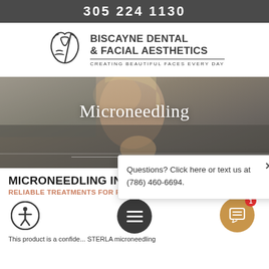305 224 1130
[Figure (logo): Biscayne Dental & Facial Aesthetics logo with face/tooth icon and tagline CREATING BEAUTIFUL FACES EVERY DAY]
[Figure (photo): Hero image of a woman touching her face/neck, with overlay title Microneedling]
Microneedling
Questions? Click here or text us at (786) 460-6694.
MICRONEEDLING IN MIAMI
RELIABLE TREATMENTS FOR REDUCING FINE LINES & WRINKLES
This product is a confide... STERLA microneedling